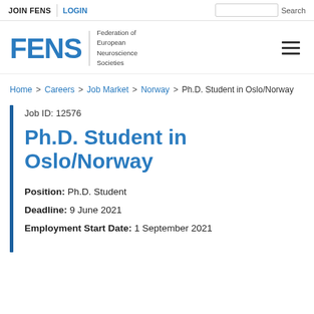JOIN FENS | LOGIN | Search
[Figure (logo): FENS logo — Federation of European Neuroscience Societies wordmark in blue with hamburger menu icon]
Home > Careers > Job Market > Norway > Ph.D. Student in Oslo/Norway
Job ID: 12576
Ph.D. Student in Oslo/Norway
Position: Ph.D. Student
Deadline: 9 June 2021
Employment Start Date: 1 September 2021